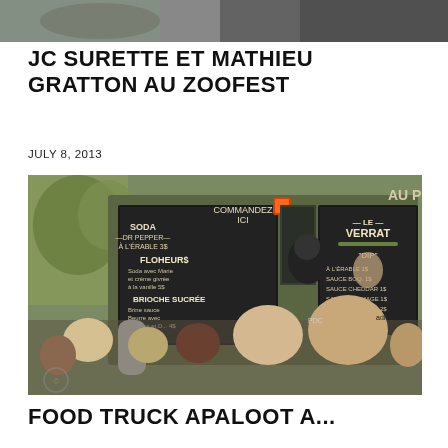[Figure (photo): Partial view of people or scene at top of page, cropped header photo]
JC SURETTE ET MATHIEU GRATTON AU ZOOFEST
JULY 8, 2013
[Figure (photo): Food truck 'Au Pied de Cochon' style truck with chalkboard menus showing items like Soda Dr Pepper à l'érable, Floheur, Brioche Sucrée, Le Verrat, DIP options. Crowd of people ordering in front of the truck.]
FOOD TRUCK APALOOT A...